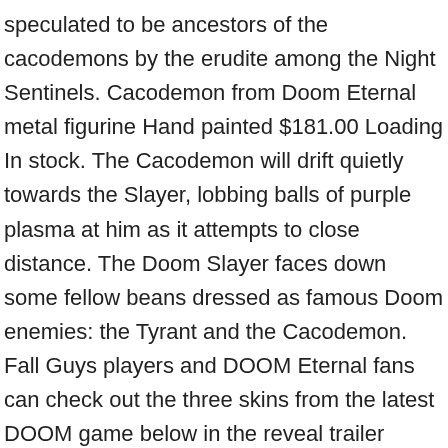speculated to be ancestors of the cacodemons by the erudite among the Night Sentinels. Cacodemon from Doom Eternal metal figurine Hand painted $181.00 Loading In stock. The Cacodemon will drift quietly towards the Slayer, lobbing balls of purple plasma at him as it attempts to close distance. The Doom Slayer faces down some fellow beans dressed as famous Doom enemies: the Tyrant and the Cacodemon. Fall Guys players and DOOM Eternal fans can check out the three skins from the latest DOOM game below in the reveal trailer released on Thursday.Featuring the same hard-hitting music from DOOM … Even without the mod, the ballista's bonus damage against flying monsters makes it an effective counter to the cacodemon. Bethesda will publish id Software's Doom Eternal on the consoles and the PC on March 20. Continuing